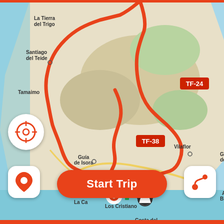[Figure (map): Mobile navigation app screenshot showing a map of southwest Tenerife, Spain. A red route traces a loop through locations including La Tierra del Trigo, Santiago del Teide, Tamaimo, Guia de Isora, Fonsalia, Tijoco Bajo, Armenime, La Caleta, Los Cristianos, Arona, Vilaflor, passing road signs TF-38, TF-24, TF-65. A red circle/dot marks current position near Los Cristanos. Map icons include a soccer ball and flag marker. UI shows crosshair button, location pin button, route button, and a large orange 'Start Trip' button at bottom. Bottom strip is red/orange.]